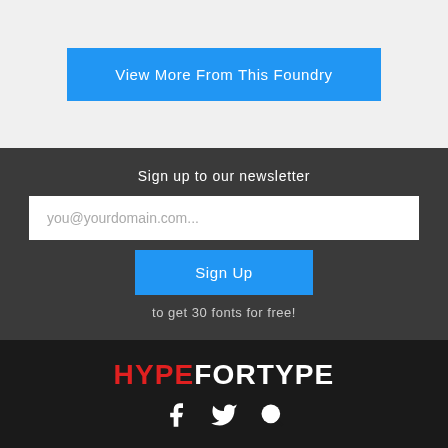View More From This Foundry
Sign up to our newsletter
you@yourdomain.com...
Sign Up
to get 30 fonts for free!
HYPEFORTYPE
[Figure (illustration): Social media icons: Facebook, Twitter, and another icon in white]